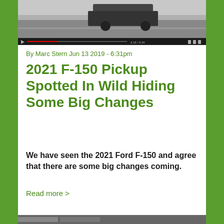[Figure (screenshot): Video thumbnail showing a pickup truck driving on a road, with video player controls at the bottom]
By Marc Stern Jun 13 2019 - 6:31pm
2021 F-150 Pickup Spotted In Wild Hiding Some Big Changes
We have seen the 2021 Ford F-150 and agree that there are some big changes coming.
Read more >
[Figure (screenshot): Partial view of another article thumbnail at the bottom of the page]